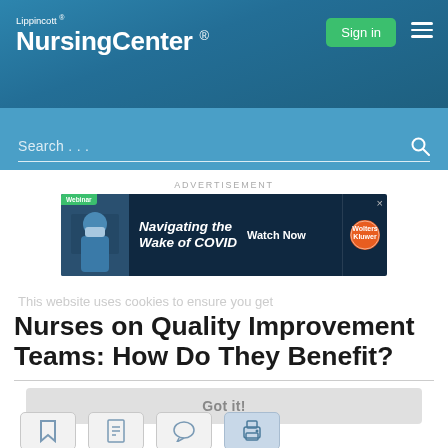Lippincott® NursingCenter®
[Figure (screenshot): Advertisement banner: Navigating the Wake of COVID webinar - Watch Now, Wolters Kluwer]
ADVERTISEMENT
This website uses cookies to ensure you get
Nurses on Quality Improvement Teams: How Do They Benefit?
Got it!